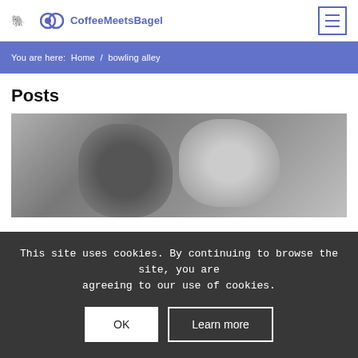CoffeeMeetsBagel
You are here:  Home  /  bowling alley
Posts
[Figure (photo): Black and white photo of a man and woman leaning close together, appearing to be on a date]
This site uses cookies. By continuing to browse the site, you are agreeing to our use of cookies.
OK   Learn more